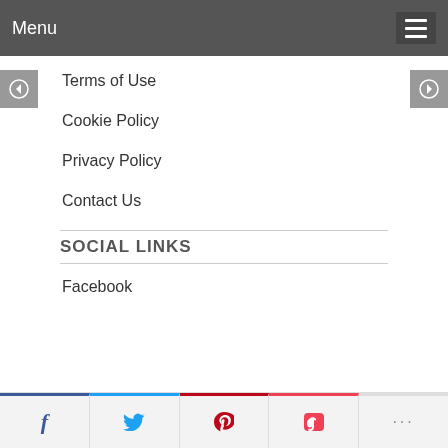Menu
Terms of Use
Cookie Policy
Privacy Policy
Contact Us
SOCIAL LINKS
Facebook
[Figure (other): Social sharing bar with Facebook, Twitter, Pinterest, Pocket, and more buttons]